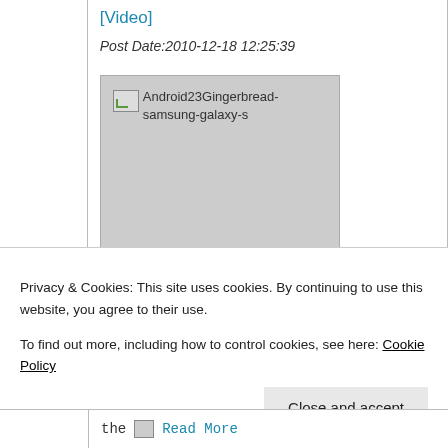[Video]
Post Date:2010-12-18 12:25:39
[Figure (photo): Android23Gingerbread-samsung-galaxy-s image placeholder]
Courtesy of the brains at the XDA, Nexus S is no more the only device running on the
Privacy & Cookies: This site uses cookies. By continuing to use this website, you agree to their use.
To find out more, including how to control cookies, see here: Cookie Policy
Close and accept
the Read More